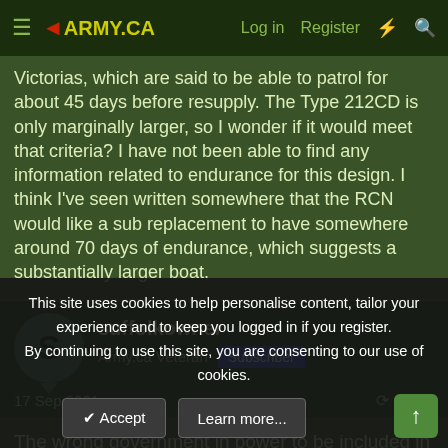ARMY.CA — Log in | Register
Victorias, which are said to be able to patrol for about 45 days before resupply. The Type 212CD is only marginally larger, so I wonder if it would meet that criteria? I have not been able to find any information related to endurance for this design. I think I've seen written somewhere that the RCN would like a sub replacement to have somewhere around 70 days of endurance, which suggests a substantially larger boat.
suffolkowner
Army.ca Veteran  Subscriber
17 Sep 2021   #463
The wrong government in power to be included in the defence
This site uses cookies to help personalise content, tailor your experience and to keep you logged in if you register.
By continuing to use this site, you are consenting to our use of cookies.